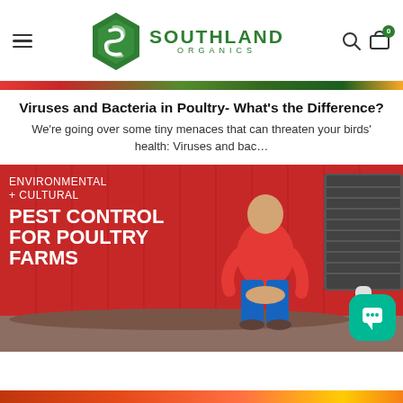[Figure (logo): Southland Organics logo with green hexagon S icon and bold green text SOUTHLAND ORGANICS]
Viruses and Bacteria in Poultry- What's the Difference?
We're going over some tiny menaces that can threaten your birds' health: Viruses and bac...
[Figure (photo): Man in red shirt sitting in front of a red barn wall with text overlay reading ENVIRONMENTAL + CULTURAL PEST CONTROL FOR POULTRY FARMS]